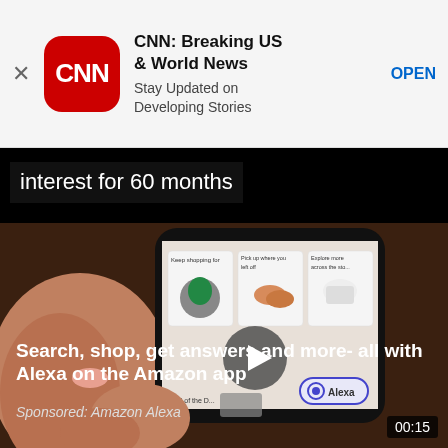[Figure (screenshot): CNN app banner advertisement showing CNN logo, title 'CNN: Breaking US & World News', subtitle 'Stay Updated on Developing Stories', and an OPEN button]
interest for 60 months
[Figure (screenshot): Amazon app video advertisement showing a hand holding a smartphone displaying the Amazon app with shopping recommendations. Text overlay: 'Search, shop, get answers and more- all with Alexa on the Amazon app'. Sponsored: Amazon Alexa. Timer: 00:15]